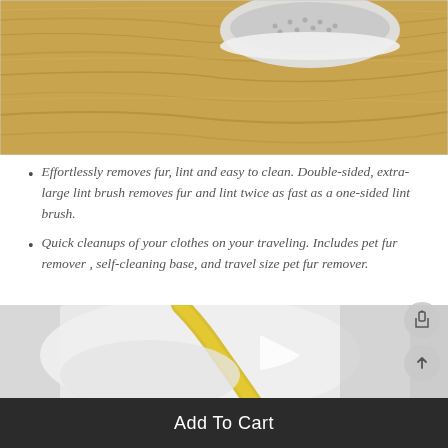[Figure (photo): A gray and white shoe/brush on a light wood grain surface]
Effortlessly removes fur, lint and easy to clean. Double-sided, extra-large lint brush removes fur and lint twice as fast as a one-sided lint brush.
Quick cleanups of your clothes on your traveling. Includes pet fur remover , self-cleaning base, and travel size pet fur remover.
[Figure (photo): Person wearing white shirt with a yellow strap/lint roller being used on shoulder area]
Add To Cart